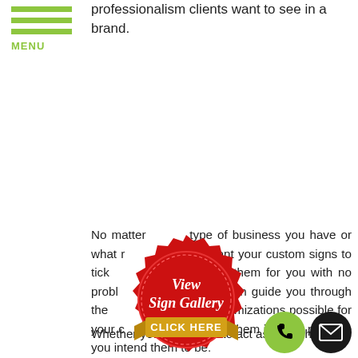professionalism clients want to see in a brand.
[Figure (other): Hamburger menu icon with three green horizontal bars and MENU label in green]
No matter what type of business you have or what reasons you want your custom signs to tick, we can make them for you with no problem. Our team can guide you through the design and optimizations possible for your custom signs and fit them into the purpose you intend them to be.
[Figure (other): Red circular badge seal with gold ribbon banner reading CLICK HERE, text reads View Sign Gallery]
Whether you want them to act as a sign that
[Figure (other): Green phone button circle and black email envelope button circle in bottom right corner]